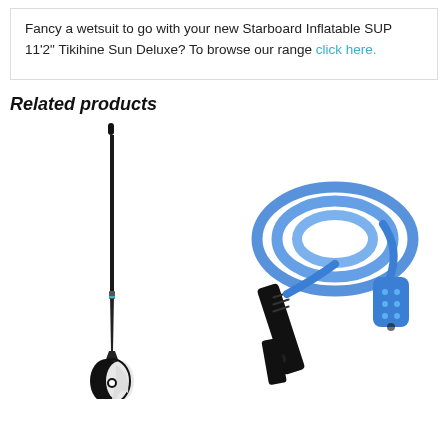Fancy a wetsuit to go with your new Starboard Inflatable SUP 11'2" Tikihine Sun Deluxe? To browse our range click here.
Related products
[Figure (photo): A SUP paddle with a long black shaft and a black and white blade at the bottom, viewed vertically]
[Figure (photo): A blue SUP leash coiled in loops with a black neoprene cuff and blue rail saver attachment]